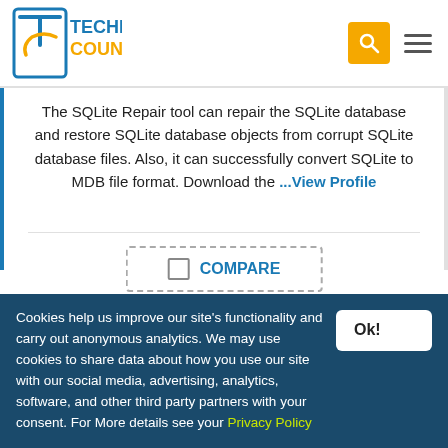Technology Counter
The SQLite Repair tool can repair the SQLite database and restore SQLite database objects from corrupt SQLite database files. Also, it can successfully convert SQLite to MDB file format. Download the ...View Profile
COMPARE
Free Demo
₹ Get Pricing
Cookies help us improve our site's functionality and carry out anonymous analytics. We may use cookies to share data about how you use our site with our social media, advertising, analytics, software, and other third party partners with your consent. For More details see your Privacy Policy